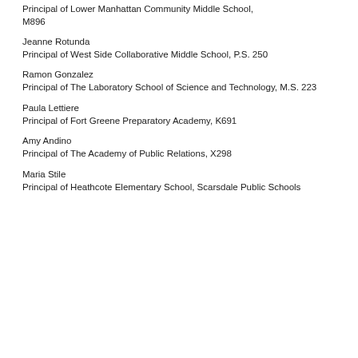Principal of Lower Manhattan Community Middle School, M896
Jeanne Rotunda
Principal of West Side Collaborative Middle School, P.S. 250
Ramon Gonzalez
Principal of The Laboratory School of Science and Technology, M.S. 223
Paula Lettiere
Principal of Fort Greene Preparatory Academy, K691
Amy Andino
Principal of The Academy of Public Relations, X298
Maria Stile
Principal of Heathcote Elementary School, Scarsdale Public Schools